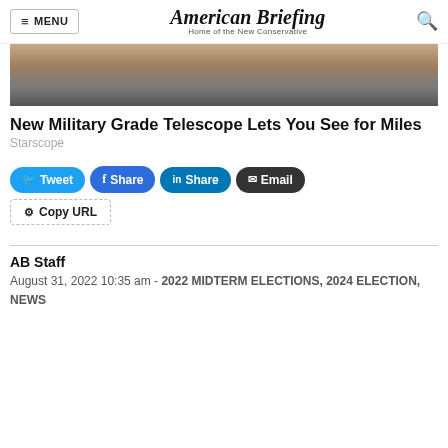MENU | American Briefing — Home of the New Conservative
[Figure (photo): Partial close-up photo of a person holding a military-grade telescope, showing fingers and the device]
New Military Grade Telescope Lets You See for Miles
Starscope
Tweet
Share
Share
Email
Copy URL
AB Staff
August 31, 2022 10:35 am - 2022 MIDTERM ELECTIONS, 2024 ELECTION, NEWS